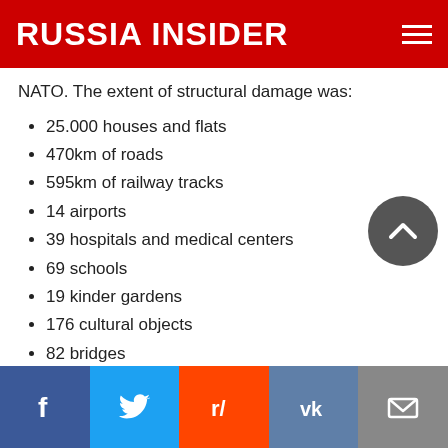RUSSIA INSIDER
NATO. The extent of structural damage was:
25.000 houses and flats
470km of roads
595km of railway tracks
14 airports
39 hospitals and medical centers
69 schools
19 kinder gardens
176 cultural objects
82 bridges
NATO's massive military attack on the small country involved: